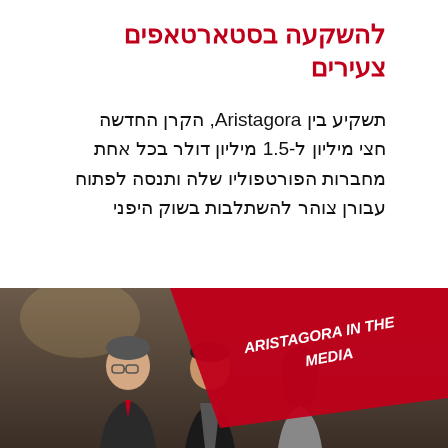להשקעה בסטארטאפים צעירים
תשקיע בין Aristagora, הקרן החדשה חצי מיליון ל-1.5 מיליון דולר בכל אחת מחברות הפורטפוליו שלה ותנסה לפתוח עבורן צוהר להשתלבות בשוק היפני
READ MORE
[Figure (photo): Photo of business professionals with a red diagonal banner reading ARISTAGORA IN THE MEDIA]